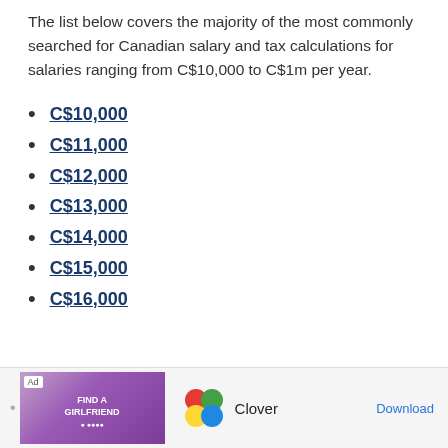The list below covers the majority of the most commonly searched for Canadian salary and tax calculations for salaries ranging from C$10,000 to C$1m per year.
C$10,000
C$11,000
C$12,000
C$13,000
C$14,000
C$15,000
C$16,000